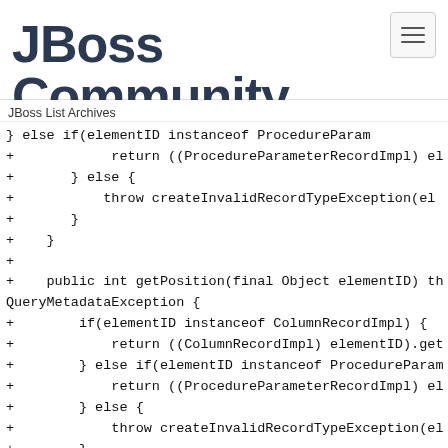JBoss Community
JBoss List Archives
[Figure (screenshot): Hamburger menu button in top right corner]
} else if(elementID instanceof ProcedureParam
+            return ((ProcedureParameterRecordImpl) el
+       } else {
+           throw createInvalidRecordTypeException(el
+       }
+    }
+
+    public int getPosition(final Object elementID) th
QueryMetadataException {
+        if(elementID instanceof ColumnRecordImpl) {
+            return ((ColumnRecordImpl) elementID).get
+        } else if(elementID instanceof ProcedureParam
+            return ((ProcedureParameterRecordImpl) el
+        } else {
+            throw createInvalidRecordTypeException(el
+        }
+    }